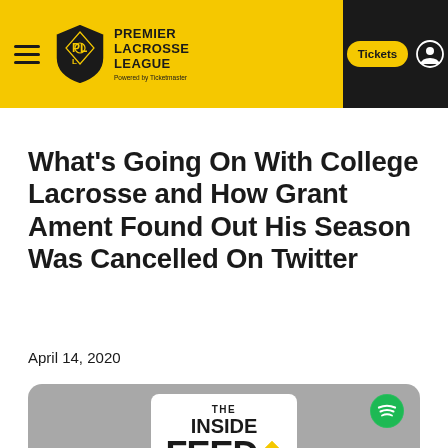[Figure (screenshot): Premier Lacrosse League website header with yellow and black navigation bar, hamburger menu, PLL logo, Tickets button, and user icon]
What's Going On With College Lacrosse and How Grant Ament Found Out His Season Was Cancelled On Twitter
April 14, 2020
[Figure (screenshot): The Inside Feed podcast card with grey background, white card showing THE INSIDE FEED logo with diamond graphic, and Spotify icon]